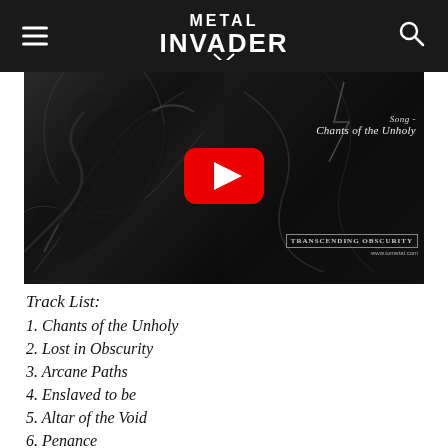Metal Invader
[Figure (screenshot): YouTube video thumbnail showing dark fantasy/metal artwork with a large red YouTube play button overlay. Text on right side reads 'Song - Chants of the Unholy' and 'Transcending Obscurity' logo with www.tometal.com]
Track List:
1. Chants of the Unholy
2. Lost in Obscurity
3. Arcane Paths
4. Enslaved to be
5. Altar of the Void
6. Penance
7. Sanctum Regnum